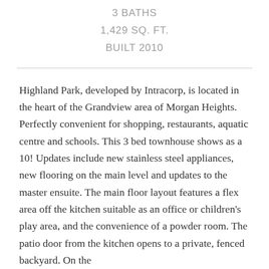3 BATHS
1,429 SQ. FT.
BUILT 2010
Highland Park, developed by Intracorp, is located in the heart of the Grandview area of Morgan Heights. Perfectly convenient for shopping, restaurants, aquatic centre and schools. This 3 bed townhouse shows as a 10! Updates include new stainless steel appliances, new flooring on the main level and updates to the master ensuite. The main floor layout features a flex area off the kitchen suitable as an office or children's play area, and the convenience of a powder room. The patio door from the kitchen opens to a private, fenced backyard. On the